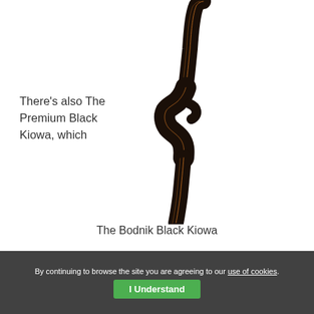[Figure (photo): A dark brown/black recurve bow (The Bodnik Black Kiowa) photographed against a white background, showing the riser and limbs with golden/orange accent lines along the edges.]
There's also The Premium Black Kiowa, which
The Bodnik Black Kiowa
By continuing to browse the site you are agreeing to our use of cookies.
I Understand